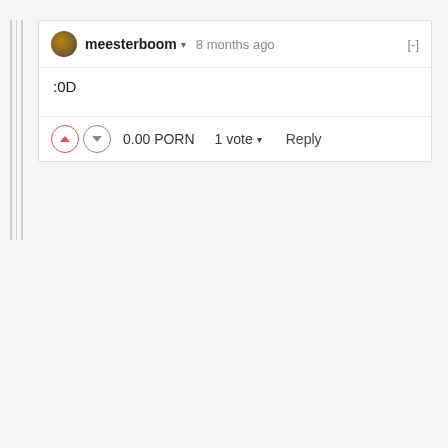meesterboom ▾ 8 months ago [-]
:0D
0.00 PORN   1 vote ▾   Reply